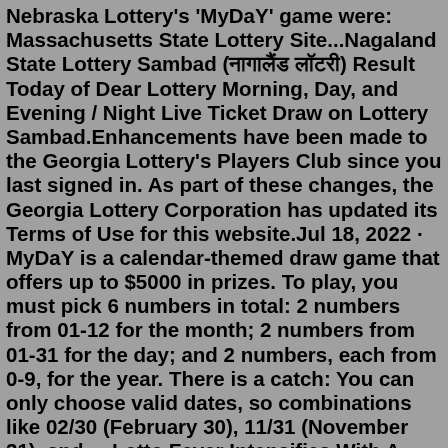Nebraska Lottery's 'MyDaY' game were: Massachusetts State Lottery Site...Nagaland State Lottery Sambad (नागालैंड लॉटरी) Result Today of Dear Lottery Morning, Day, and Evening / Night Live Ticket Draw on Lottery Sambad.Enhancements have been made to the Georgia Lottery's Players Club since you last signed in. As part of these changes, the Georgia Lottery Corporation has updated its Terms of Use for this website.Jul 18, 2022 · MyDaY is a calendar-themed draw game that offers up to $5000 in prizes. To play, you must pick 6 numbers in total: 2 numbers from 01-12 for the month; 2 numbers from 01-31 for the day; and 2 numbers, each from 0-9, for the year. There is a catch: You can only choose valid dates, so combinations like 02/30 (February 30), 11/31 (November 31), and ... Lotto Fever Intensifies With A Jackpot Still Up For Grabs. Its lotto fever tonight: Americans are The world of lottery winners is paved with former millionaires who've burned through fortunes and wound...Nebraska Lottery Scratch Offs I GOT 20 MATCHES ON 1 LOTTERY TICKET!